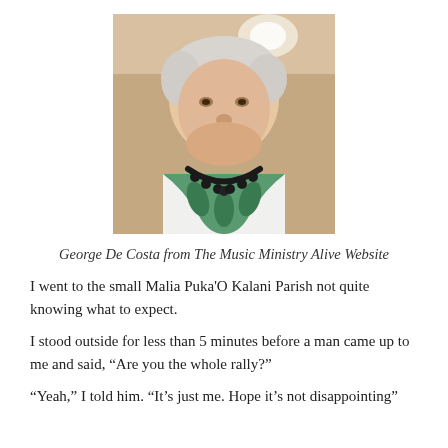[Figure (photo): Portrait photo of George De Costa, an older man with white/grey hair, smiling, wearing a white garment with a green leafy Hawaiian stole and a black bead necklace. Background is warm/brown tones with a light fixture visible.]
George De Costa from The Music Ministry Alive Website
I went to the small Malia Puka'O Kalani Parish not quite knowing what to expect.
I stood outside for less than 5 minutes before a man came up to me and said, “Are you the whole rally?”
“Yeah,” I told him. “It’s just me. Hope it’s not disappointing”